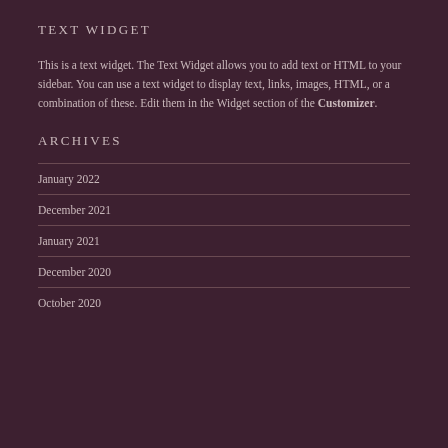TEXT WIDGET
This is a text widget. The Text Widget allows you to add text or HTML to your sidebar. You can use a text widget to display text, links, images, HTML, or a combination of these. Edit them in the Widget section of the Customizer.
ARCHIVES
January 2022
December 2021
January 2021
December 2020
October 2020